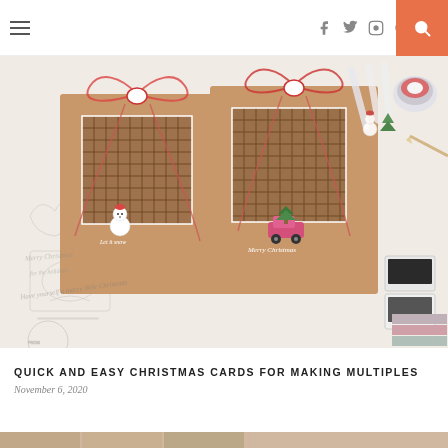Navigation bar with hamburger menu, social icons (facebook, twitter, instagram, pinterest, youtube), and search button
[Figure (photo): Two handmade kraft paper Christmas cards with plaid stamped design, red and white twine bows, and colorful die-cut embellishments (snowman, car with Christmas tree). Surrounded by crafting supplies including markers, stamps, ink pads on a white background.]
QUICK AND EASY CHRISTMAS CARDS FOR MAKING MULTIPLES
November 6, 2020